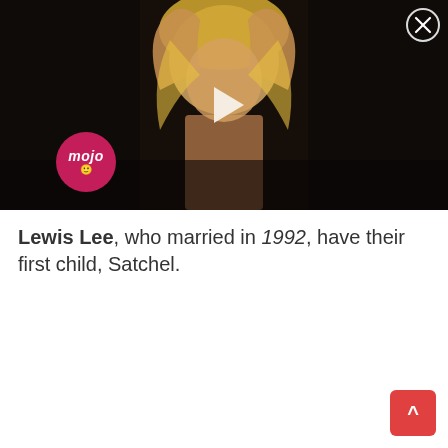[Figure (screenshot): Video player thumbnail showing a blonde woman with arms raised above her head, dark background. WatchMojo logo visible bottom left. Play button in center. Close (X) button top right.]
Lewis Lee, who married in 1992, have their first child, Satchel.